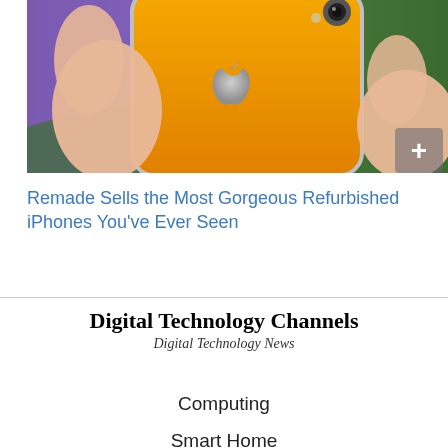[Figure (photo): A hand holding an orange/yellow iPhone with Apple logo visible on the back, against a blurred purple and green background. A small '+' icon overlay is visible in the lower right corner.]
Remade Sells the Most Gorgeous Refurbished iPhones You've Ever Seen
Digital Technology Channels
Digital Technology News
Computing
Smart Home